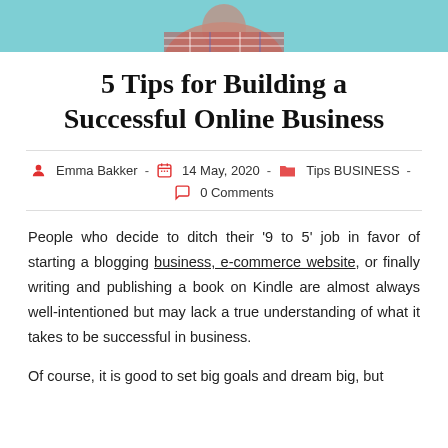[Figure (photo): Top portion of a person wearing a plaid shirt against a teal background, cropped at the shoulders/torso level.]
5 Tips for Building a Successful Online Business
Emma Bakker  -  14 May, 2020  -  Tips BUSINESS  -  0 Comments
People who decide to ditch their ‘9 to 5’ job in favor of starting a blogging business, e-commerce website, or finally writing and publishing a book on Kindle are almost always well-intentioned but may lack a true understanding of what it takes to be successful in business.
Of course, it is good to set big goals and dream big, but